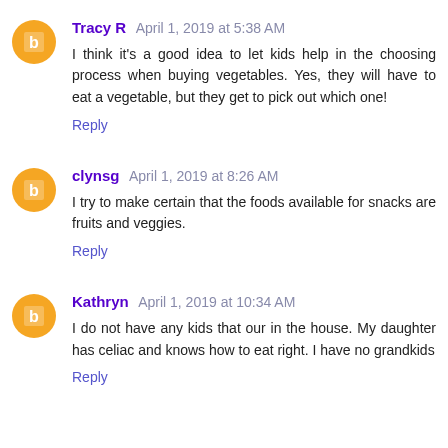Tracy R April 1, 2019 at 5:38 AM
I think it's a good idea to let kids help in the choosing process when buying vegetables. Yes, they will have to eat a vegetable, but they get to pick out which one!
Reply
clynsg April 1, 2019 at 8:26 AM
I try to make certain that the foods available for snacks are fruits and veggies.
Reply
Kathryn April 1, 2019 at 10:34 AM
I do not have any kids that our in the house. My daughter has celiac and knows how to eat right. I have no grandkids
Reply